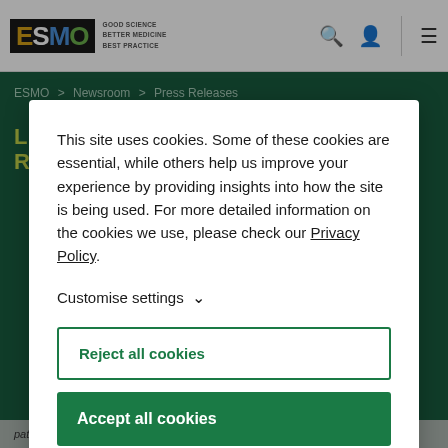ESMO | GOOD SCIENCE BETTER MEDICINE BEST PRACTICE
ESMO > Newsroom > Press Releases
LIQUID BIOPSY HAS PROGNOSTIC ROLE
This site uses cookies. Some of these cookies are essential, while others help us improve your experience by providing insights into how the site is being used. For more detailed information on the cookies we use, please check our Privacy Policy.
Customise settings
Reject all cookies
Accept all cookies
patients, according to new research presented at the ESMO